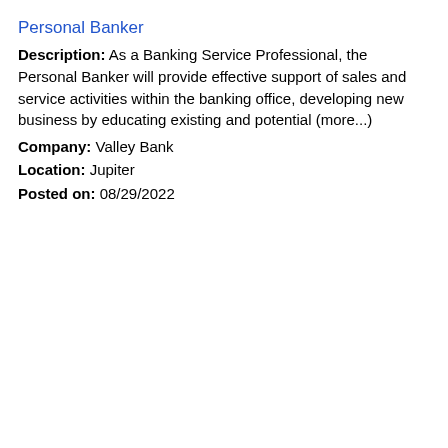Personal Banker
Description: As a Banking Service Professional, the Personal Banker will provide effective support of sales and service activities within the banking office, developing new business by educating existing and potential (more...)
Company: Valley Bank
Location: Jupiter
Posted on: 08/29/2022